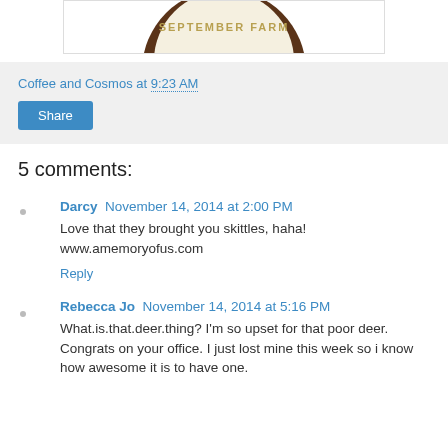[Figure (logo): Partial view of September Farm logo — circular badge with brown base and text SEPTEMBER FARM]
Coffee and Cosmos at 9:23 AM
Share
5 comments:
Darcy November 14, 2014 at 2:00 PM
Love that they brought you skittles, haha!
www.amemoryofus.com
Reply
Rebecca Jo November 14, 2014 at 5:16 PM
What.is.that.deer.thing? I'm so upset for that poor deer. Congrats on your office. I just lost mine this week so i know how awesome it is to have one.